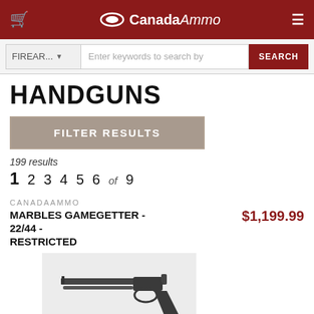CanadaAmmo
FIREAR... Enter keywords to search by SEARCH
HANDGUNS
FILTER RESULTS
199 results
1 2 3 4 5 6 of 9
CANADAAMMO
MARBLES GAMEGETTER - 22/44 - RESTRICTED
$1,199.99
[Figure (photo): A Marbles Gamegetter pistol with long barrel, shown from the side on a white background.]